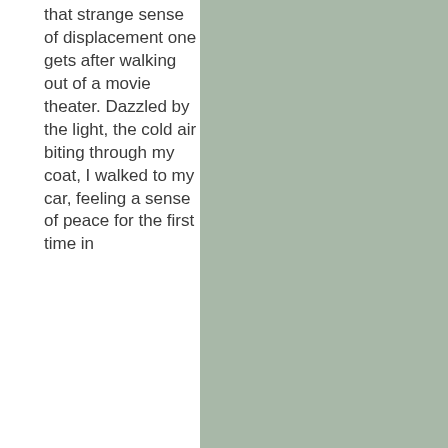that strange sense of displacement one gets after walking out of a movie theater. Dazzled by the light, the cold air biting through my coat, I walked to my car, feeling a sense of peace for the first time in